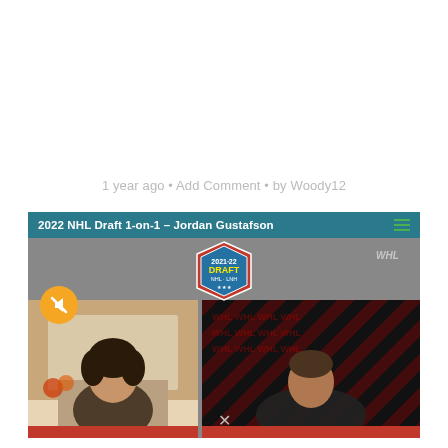1 year ago • Add Comment • by Woody12
[Figure (screenshot): Embedded video player showing '2022 NHL Draft 1-on-1 – Jordan Gustafson' with a split-screen interview: young player on left side with home background, interviewer on right side with WHL-branded background. NHL Draft logo centered at top of video. Yellow mute button visible. Green hamburger menu icon top right of player.]